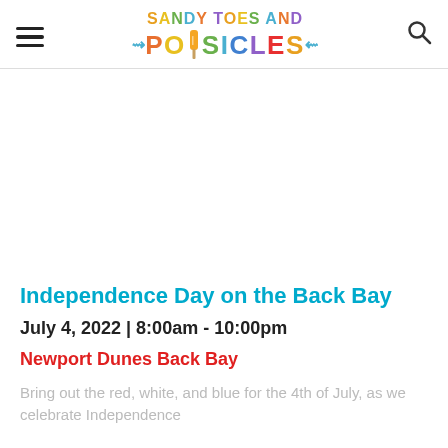Sandy Toes and Popsicles
Independence Day on the Back Bay
July 4, 2022 | 8:00am - 10:00pm
Newport Dunes Back Bay
Bring out the red, white, and blue for the 4th of July, as we celebrate Independence